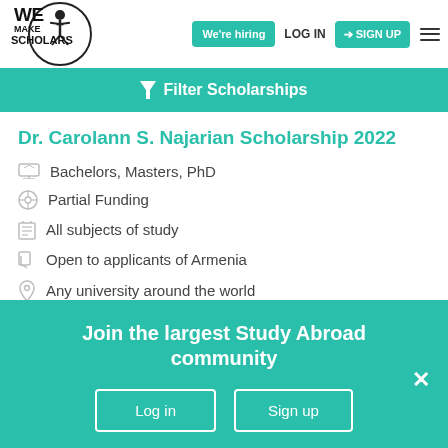We Make Scholars — We're hiring | LOG IN | SIGN UP
Filter Scholarships
Dr. Carolann S. Najarian Scholarship 2022
Bachelors, Masters, PhD
Partial Funding
All subjects of study
Open to applicants of Armenia
Any university around the world
Shortlist | View & Apply
Join the largest Study Abroad community
Log in | Sign up